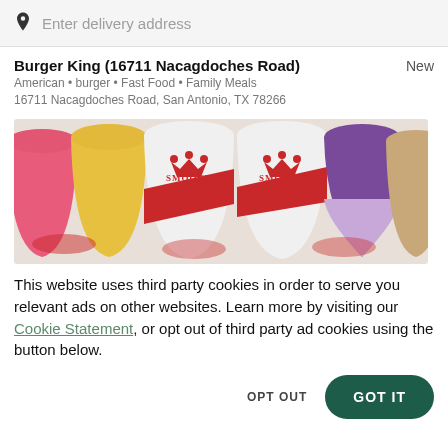Enter delivery address
Burger King (16711 Nacagdoches Road)   New
American • burger • Fast Food • Family Meals
16711 Nacagdoches Road, San Antonio, TX 78266
[Figure (photo): Row of colorful Smoothie King branded cups — pink, yellow, white, light green, purple, tan — photographed from above at an angle showing the cups filled with smoothies and the Smoothie King logo on the white cups.]
This website uses third party cookies in order to serve you relevant ads on other websites. Learn more by visiting our Cookie Statement, or opt out of third party ad cookies using the button below.
OPT OUT
GOT IT